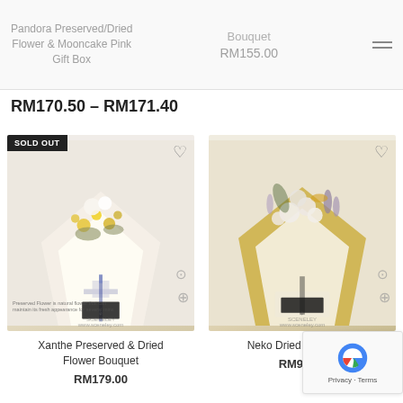Pandora Preserved/Dried Flower & Mooncake Pink Gift Box | Bouquet | RM155.00
RM170.50 – RM171.40
[Figure (photo): Xanthe Preserved & Dried Flower Bouquet - yellow and white dried flowers in cream wrapping with blue ribbon, SOLD OUT badge in top-left corner]
Xanthe Preserved & Dried Flower Bouquet
RM179.00
[Figure (photo): Neko Dried Flower Bouquet - white cotton flowers with purple dried flowers in gold and cream wrapping]
Neko Dried Flower B...
RM99.00